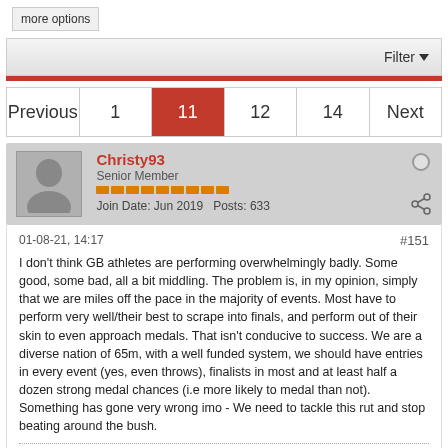more options
Filter
Previous  1  11  12  14  Next
Christy93
Senior Member
Join Date: Jun 2019  Posts: 633
01-08-21, 14:17  #151
I don't think GB athletes are performing overwhelmingly badly. Some good, some bad, all a bit middling. The problem is, in my opinion, simply that we are miles off the pace in the majority of events. Most have to perform very well/their best to scrape into finals, and perform out of their skin to even approach medals. That isn't conducive to success. We are a diverse nation of 65m, with a well funded system, we should have entries in every event (yes, even throws), finalists in most and at least half a dozen strong medal chances (i.e more likely to medal than not). Something has gone very wrong imo - We need to tackle this rut and stop beating around the bush.